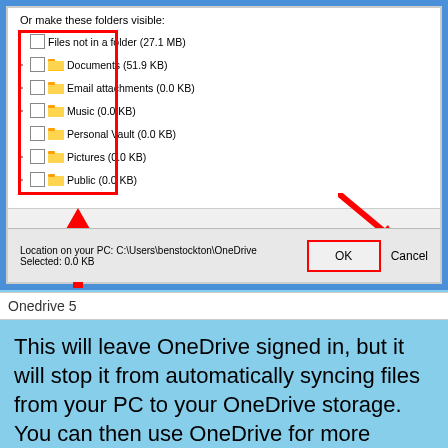[Figure (screenshot): Windows OneDrive folder visibility dialog showing checkboxes for: Files not in a folder (27.1 MB), Documents (51.9 KB), Email attachments (0.0 KB), Music (0.0 KB), Personal Vault (0.0 KB), Pictures (0.0 KB), Public (0.0 KB). Red rectangle highlights the checkboxes column. Red up arrow points to checkbox area. Red diagonal arrow points to OK button. Bottom bar shows Location on your PC: C:\Users\benstockton\OneDrive, Selected: 0.0 KB, with OK (red-bordered) and Cancel buttons.]
Onedrive 5
This will leave OneDrive signed in, but it will stop it from automatically syncing files from your PC to your OneDrive storage. You can then use OneDrive for more syncing in the table...